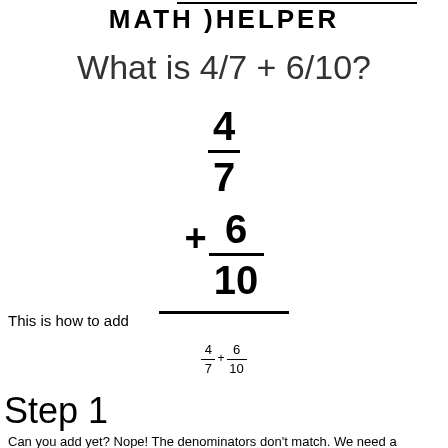MATH ) HELPER
What is 4/7 + 6/10?
This is how to add
Step 1
Can you add yet? Nope! The denominators don't match. We need a